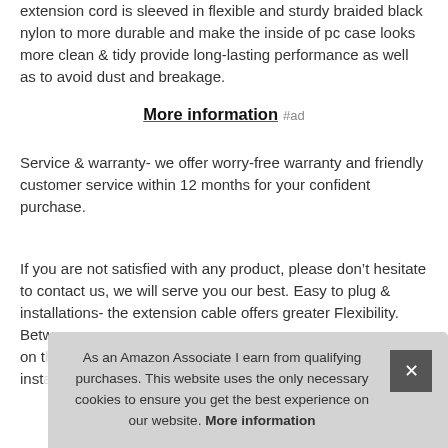extension cord is sleeved in flexible and sturdy braided black nylon to more durable and make the inside of pc case looks more clean & tidy provide long-lasting performance as well as to avoid dust and breakage.
More information #ad
Service & warranty- we offer worry-free warranty and friendly customer service within 12 months for your confident purchase.
If you are not satisfied with any product, please don't hesitate to contact us, we will serve you our best. Easy to plug & installations- the extension cable offers greater Flexibility. Betw... on t... inst...
As an Amazon Associate I earn from qualifying purchases. This website uses the only necessary cookies to ensure you get the best experience on our website. More information